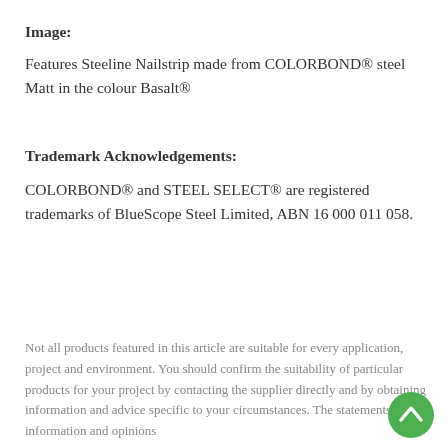Image:
Features Steeline Nailstrip made from COLORBOND® steel Matt in the colour Basalt®
Trademark Acknowledgements:
COLORBOND® and STEEL SELECT® are registered trademarks of BlueScope Steel Limited, ABN 16 000 011 058.
Not all products featured in this article are suitable for every application, project and environment. You should confirm the suitability of particular products for your project by contacting the supplier directly and by obtaining information and advice specific to your circumstances. The statements, information and opinions
[Figure (other): Green circular scroll-to-top button with white upward chevron arrow]